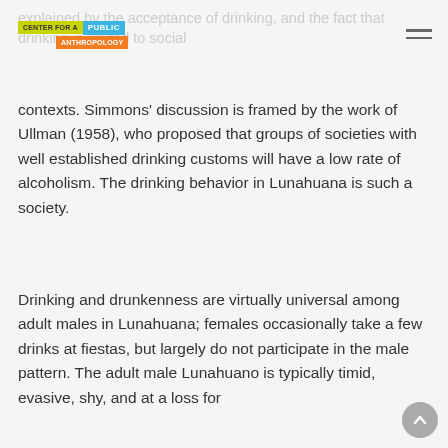CENTER FOR A PUBLIC ANTHROPOLOGY
explained by the acceptance of drinking, and the fact that drinking is limited to social contexts. Simmons' discussion is framed by the work of Ullman (1958), who proposed that groups of societies with well established drinking customs will have a low rate of alcoholism. The drinking behavior in Lunahuana is such a society.
Drinking and drunkenness are virtually universal among adult males in Lunahuana; females occasionally take a few drinks at fiestas, but largely do not participate in the male pattern. The adult male Lunahuano is typically timid, evasive, shy, and at a loss for